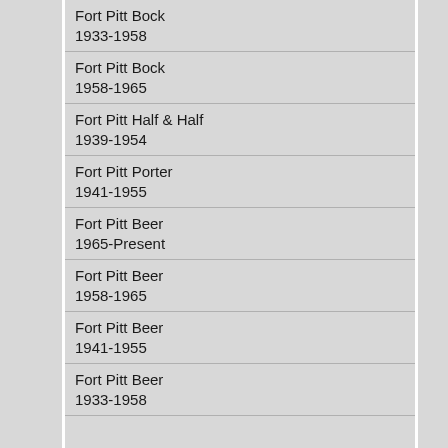Fort Pitt Bock
1933-1958
Fort Pitt Bock
1958-1965
Fort Pitt Half & Half
1939-1954
Fort Pitt Porter
1941-1955
Fort Pitt Beer
1965-Present
Fort Pitt Beer
1958-1965
Fort Pitt Beer
1941-1955
Fort Pitt Beer
1933-1958